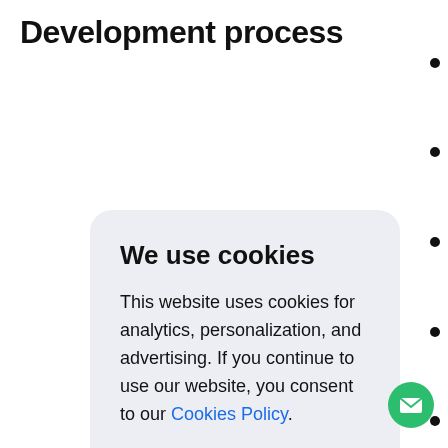Development process
We use cookies

This website uses cookies for analytics, personalization, and advertising. If you continue to use our website, you consent to our Cookies Policy.

Accept